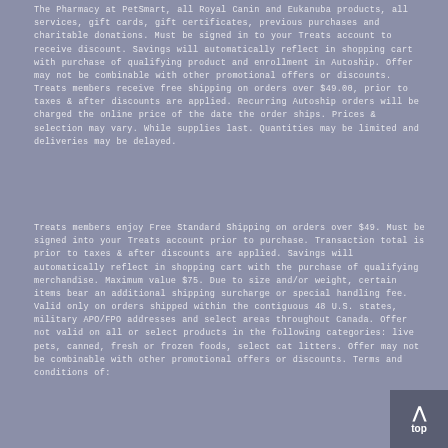The Pharmacy at PetSmart, all Royal Canin and Eukanuba products, all services, gift cards, gift certificates, previous purchases and charitable donations. Must be signed in to your Treats account to receive discount. Savings will automatically reflect in shopping cart with purchase of qualifying product and enrollment in Autoship. Offer may not be combinable with other promotional offers or discounts. Treats members receive free shipping on orders over $49.00, prior to taxes & after discounts are applied. Recurring Autoship orders will be charged the online price of the date the order ships. Prices & selection may vary. While supplies last. Quantities may be limited and deliveries may be delayed.
Treats members enjoy Free Standard Shipping on orders over $49. Must be signed into your Treats account prior to purchase. Transaction total is prior to taxes & after discounts are applied. Savings will automatically reflect in shopping cart with the purchase of qualifying merchandise. Maximum value $75. Due to size and/or weight, certain items bear an additional shipping surcharge or special handling fee. Valid only on orders shipped within the contiguous 48 U.S. states, military APO/FPO addresses and select areas throughout Canada. Offer not valid on all or select products in the following categories: live pets, canned, fresh or frozen foods, select cat litters. Offer may not be combinable with other promotional offers or discounts. Terms and conditions of: